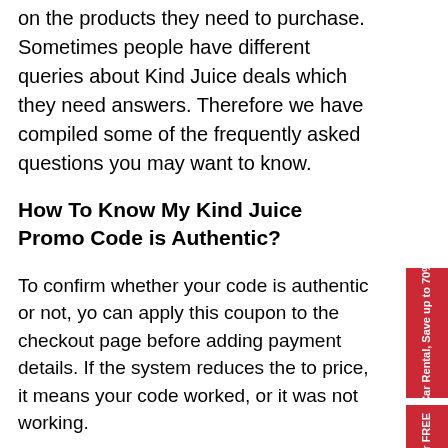on the products they need to purchase. Sometimes people have different queries about Kind Juice deals which they need answers. Therefore we have compiled some of the frequently asked questions you may want to know.
How To Know My Kind Juice Promo Code is Authentic?
To confirm whether your code is authentic or not, you can apply this coupon to the checkout page before adding payment details. If the system reduces the total price, it means your code worked, or it was not working.
Why My Kind Juice Coupon Code didn't Work?
There are several reasons that the code you entered won't be working.
The promotion has expired.
The coupon is valid only for selected items.
[Figure (other): Red sidebar banner reading: Car Rental, Save up to 70%]
[Figure (other): Red sidebar banner reading: Get 10 images for FREE]